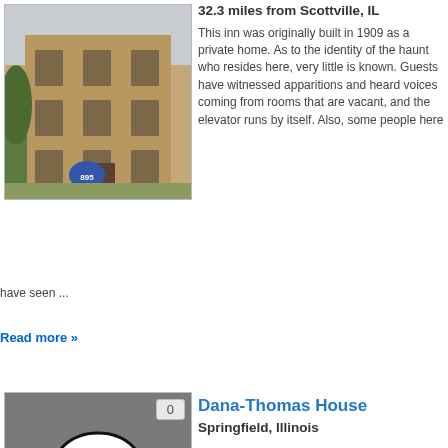[Figure (photo): Photo of a brick apartment/inn building with a blue oval sign showing '895']
32.3 miles from Scottville, IL
This inn was originally built in 1909 as a private home. As to the identity of the haunt who resides here, very little is known. Guests have witnessed apparitions and heard voices coming from rooms that are vacant, and the elevator runs by itself. Also, some people here have seen ...
Read more »
[Figure (illustration): Cartoon ghost illustration (white ghost with smile on gray background) with badge showing '0']
Dana-Thomas House
Springfield, Illinois
32.4 miles from Scottville, IL
Witnesses who visit or work at the historic house have reported humming voices, chairs being thrown down the stairs, curtains that move by themselves, and an apparition of a woman in black. The woman is believed to be the home's original owner, Susan Lawrence Dana, who is rumored to have ...
Read more »